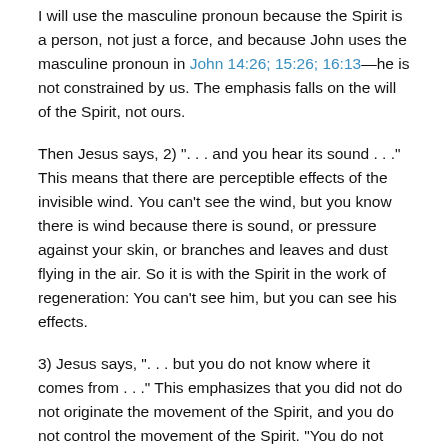I will use the masculine pronoun because the Spirit is a person, not just a force, and because John uses the masculine pronoun in John 14:26; 15:26; 16:13—he is not constrained by us. The emphasis falls on the will of the Spirit, not ours.
Then Jesus says, 2) ". . . and you hear its sound . . ." This means that there are perceptible effects of the invisible wind. You can't see the wind, but you know there is wind because there is sound, or pressure against your skin, or branches and leaves and dust flying in the air. So it is with the Spirit in the work of regeneration: You can't see him, but you can see his effects.
3) Jesus says, ". . . but you do not know where it comes from . . ." This emphasizes that you did not do not originate the movement of the Spirit, and you do not control the movement of the Spirit. "You do not know." These words mean there is a mystery here. The Spirit works in ways we do not fully